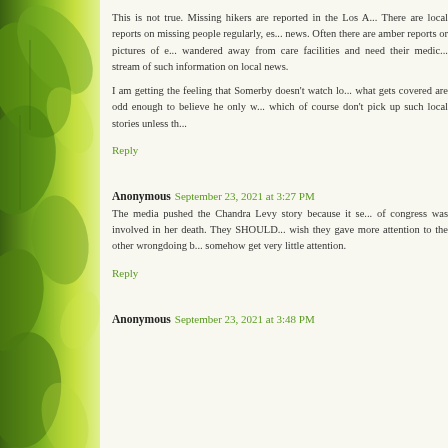[Figure (photo): Green leaves background on left sidebar]
This is not true. Missing hikers are reported in the Los A... There are local reports on missing people regularly, es... news. Often there are amber reports or pictures of e... wandered away from care facilities and need their medic... stream of such information on local news.
I am getting the feeling that Somerby doesn't watch lo... what gets covered are odd enough to believe he only w... which of course don't pick up such local stories unless th...
Reply
Anonymous September 23, 2021 at 3:27 PM
The media pushed the Chandra Levy story because it se... of congress was involved in her death. They SHOULD... wish they gave more attention to the other wrongdoing b... somehow get very little attention.
Reply
Anonymous September 23, 2021 at 3:48 PM